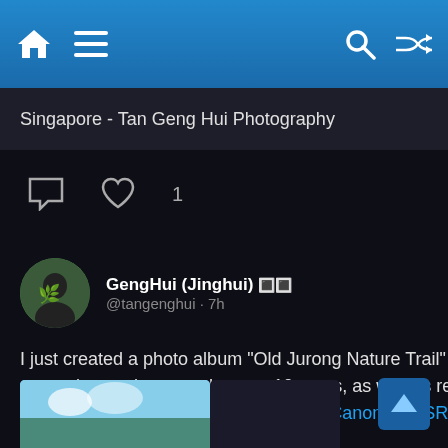Navigation bar with home, menu, search, and shuffle icons
Singapore - Tan Geng Hui Photography
comment icon, heart icon, 1
GengHui (Jinghui) 🔳🔳 @tangenghui · 7h
I just created a photo album "Old Jurong Nature Trail" on #flickr, I would be adding more photos shot over the past 10 years, as well as recently shot photos of the #railcorridor / #greencorridor with the #Canon #EOSR7 into this album.

flic.kr/s/aHBqjA3Yzu

#🔳🔳 #🔳🔳
[Figure (photo): Partial photo thumbnail visible at bottom of page, appears to be sky/nature photo]